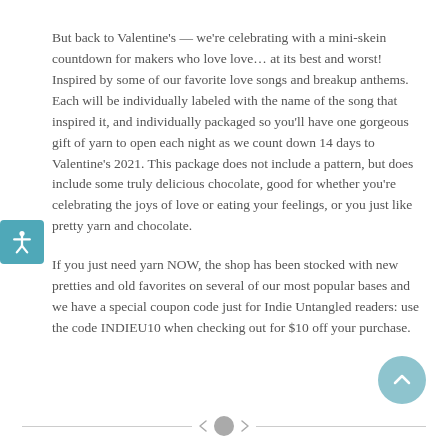But back to Valentine's — we're celebrating with a mini-skein countdown for makers who love love… at its best and worst! Inspired by some of our favorite love songs and breakup anthems. Each will be individually labeled with the name of the song that inspired it, and individually packaged so you'll have one gorgeous gift of yarn to open each night as we count down 14 days to Valentine's 2021. This package does not include a pattern, but does include some truly delicious chocolate, good for whether you're celebrating the joys of love or eating your feelings, or you just like pretty yarn and chocolate.
If you just need yarn NOW, the shop has been stocked with new pretties and old favorites on several of our most popular bases and we have a special coupon code just for Indie Untangled readers: use the code INDIEU10 when checking out for $10 off your purchase.